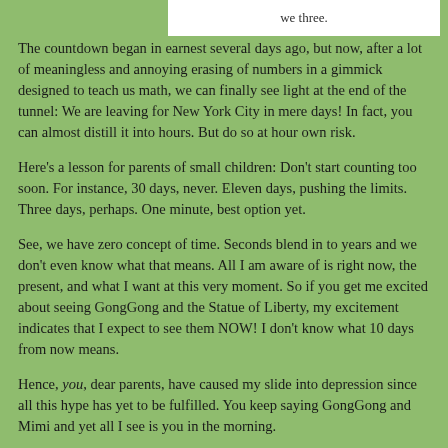we three.
The countdown began in earnest several days ago, but now, after a lot of meaningless and annoying erasing of numbers in a gimmick designed to teach us math, we can finally see light at the end of the tunnel: We are leaving for New York City in mere days! In fact, you can almost distill it into hours. But do so at hour own risk.
Here's a lesson for parents of small children: Don't start counting too soon. For instance, 30 days, never. Eleven days, pushing the limits. Three days, perhaps. One minute, best option yet.
See, we have zero concept of time. Seconds blend in to years and we don't even know what that means. All I am aware of is right now, the present, and what I want at this very moment. So if you get me excited about seeing GongGong and the Statue of Liberty, my excitement indicates that I expect to see them NOW! I don't know what 10 days from now means.
Hence, you, dear parents, have caused my slide into depression since all this hype has yet to be fulfilled. You keep saying GongGong and Mimi and yet all I see is you in the morning.